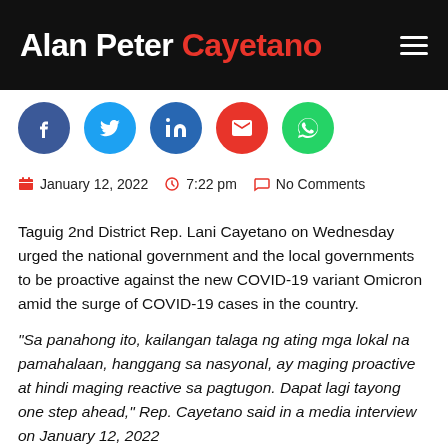Alan Peter Cayetano
[Figure (infographic): Social share buttons row: Facebook (dark blue), Twitter (light blue), LinkedIn (blue), Email (red), WhatsApp (green)]
January 12, 2022  7:22 pm  No Comments
Taguig 2nd District Rep. Lani Cayetano on Wednesday urged the national government and the local governments to be proactive against the new COVID-19 variant Omicron amid the surge of COVID-19 cases in the country.
“Sa panahong ito, kailangan talaga ng ating mga lokal na pamahalaan, hanggang sa nasyonal, ay maging proactive at hindi maging reactive sa pagtugon. Dapat lagi tayong one step ahead,” Rep. Cayetano said in a media interview on January 12, 2022.